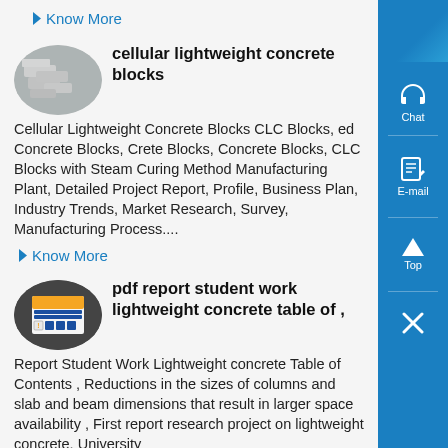Know More
[Figure (photo): Oval thumbnail image of cellular lightweight concrete blocks - grey stacked blocks]
cellular lightweight concrete blocks
Cellular Lightweight Concrete Blocks CLC Blocks, ed Concrete Blocks, Crete Blocks, Concrete Blocks, CLC Blocks with Steam Curing Method Manufacturing Plant, Detailed Project Report, Profile, Business Plan, Industry Trends, Market Research, Survey, Manufacturing Process....
Know More
[Figure (photo): Oval thumbnail image showing a warning/safety label document with orange and blue sections]
pdf report student work lightweight concrete table of ,
Report Student Work Lightweight concrete Table of Contents , Reductions in the sizes of columns and slab and beam dimensions that result in larger space availability , First report research project on lightweight concrete, University